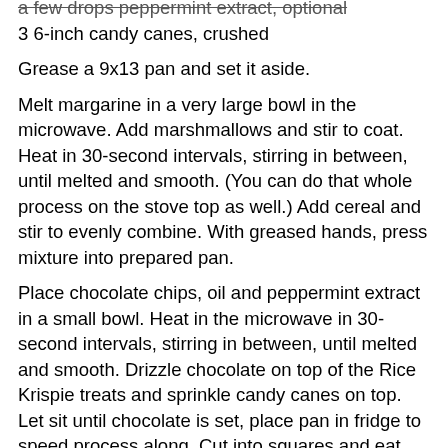a few drops peppermint extract, optional
3 6-inch candy canes, crushed
Grease a 9x13 pan and set it aside.
Melt margarine in a very large bowl in the microwave. Add marshmallows and stir to coat. Heat in 30-second intervals, stirring in between, until melted and smooth. (You can do that whole process on the stove top as well.) Add cereal and stir to evenly combine. With greased hands, press mixture into prepared pan.
Place chocolate chips, oil and peppermint extract in a small bowl. Heat in the microwave in 30-second intervals, stirring in between, until melted and smooth. Drizzle chocolate on top of the Rice Krispie treats and sprinkle candy canes on top.  Let sit until chocolate is set, place pan in fridge to speed process along. Cut into squares and eat up.
Tip: If you can't find the peppermint marshmallows, use regular marshmallows and add ¼-½ teaspoon peppermint extract (or to taste) and a few drops red food coloring to the melted marshmallow mixture.